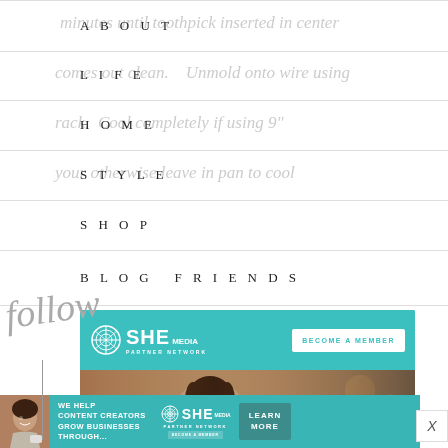ABOUT
LIFE
HOME
STYLE
SHOP
BLOG FRIENDS
minutes until toothpick inserted in center
comes out clean. Unmold onto wire using
rack. Cool completely if using 9"
your otherwise leave in pan to cool
[Figure (other): SHE Media Partner Network advertisement banner - teal background with logo, BECOME A MEMBER button, and photo of smiling woman with laptop]
[Figure (other): WE HELP CONTENT CREATORS GROW BUSINESSES THROUGH... SHE Media Partner Network bottom banner ad with LEARN MORE button]